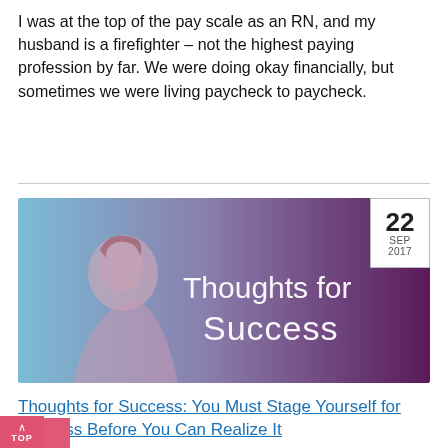I was at the top of the pay scale as an RN, and my husband is a firefighter – not the highest paying profession by far. We were doing okay financially, but sometimes we were living paycheck to paycheck.
[Figure (illustration): Banner image for 'Thoughts for Success' blog post dated September 22, 2017. Shows a woman's silhouette in blue-purple tones with the text 'Thoughts for Success' in white. A date badge in the top-right corner shows '22 SEP 2017'.]
Thoughts for Success: You Must Stage Yourself for Success Before You Can Realize It